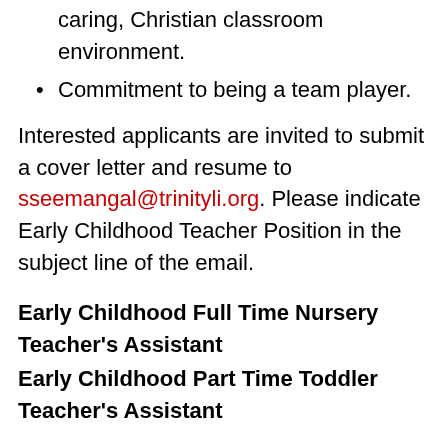caring, Christian classroom environment.
Commitment to being a team player.
Interested applicants are invited to submit a cover letter and resume to sseemangal@trinityli.org. Please indicate Early Childhood Teacher Position in the subject line of the email.
Early Childhood Full Time Nursery Teacher's Assistant
Early Childhood Part Time Toddler Teacher's Assistant
Trinity Lutheran School seeks a dynamic and caring Early Childhood Teacher's Assistant to implement Christ centered, high quality and exemplary skills, and commit themselves to Trinity's mission and philosophy. The Teacher's